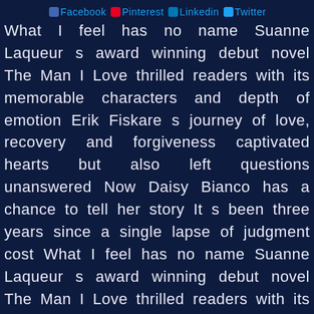Facebook Pinterest Linkedin Twitter
What I feel has no name Suanne Laqueur s award winning debut novel The Man I Love thrilled readers with its memorable characters and depth of emotion Erik Fiskare s journey of love, recovery and forgiveness captivated hearts but also left questions unanswered Now Daisy Bianco has a chance to tell her story It s been three years since a single lapse of judgment cost What I feel has no name Suanne Laqueur s award winning debut novel The Man I Love thrilled readers with its memorable characters and depth of emotion Erik Fiskare s journey of love, recovery and forgiveness captivated hearts